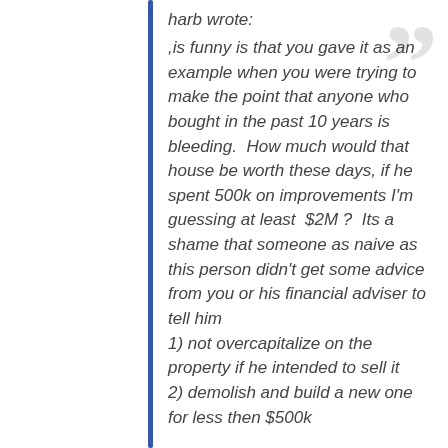harb wrote:
,is funny is that you gave it as an example when you were trying to make the point that anyone who bought in the past 10 years is bleeding.  How much would that house be worth these days, if he spent 500k on improvements I'm guessing at least  $2M ?  Its a shame that someone as naive as this person didn't get some advice from you or his financial adviser to tell him
1) not overcapitalize on the property if he intended to sell it
2) demolish and build a new one for less then $500k